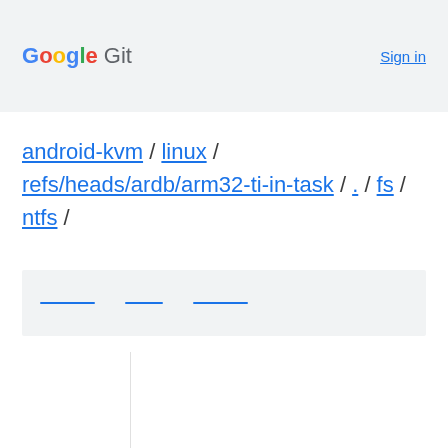Google Git  Sign in
android-kvm / linux / refs/heads/ardb/arm32-ti-in-task / . / fs / ntfs /
[Figure (other): Toolbar with three underlined placeholder links in a light gray bar]
[Figure (other): Content area with left column separator line]